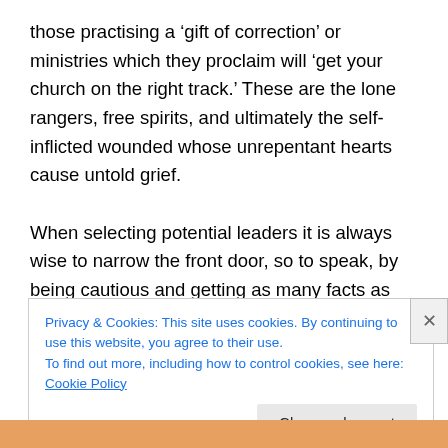those practising a 'gift of correction' or ministries which they proclaim will 'get your church on the right track.' These are the lone rangers, free spirits, and ultimately the self-inflicted wounded whose unrepentant hearts cause untold grief.

When selecting potential leaders it is always wise to narrow the front door, so to speak, by being cautious and getting as many facts as possible on the table. Good things come to those who wait and ask God's discernment in the selection of leaders. I, and many others, have
Privacy & Cookies: This site uses cookies. By continuing to use this website, you agree to their use.
To find out more, including how to control cookies, see here: Cookie Policy